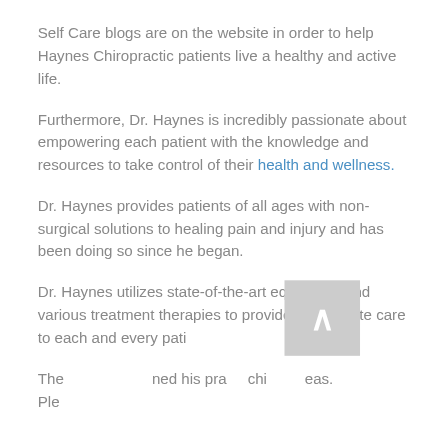Self Care blogs are on the website in order to help Haynes Chiropractic patients live a healthy and active life.
Furthermore, Dr. Haynes is incredibly passionate about empowering each patient with the knowledge and resources to take control of their health and wellness.
Dr. Haynes provides patients of all ages with non-surgical solutions to healing pain and injury and has been doing so since he began.
Dr. Haynes utilizes state-of-the-art equipment and various treatment therapies to provide appropriate care to each and every pati[ent.]
The [partial text] ned his pra[ctice] chi[ropractic] eas.
Ple[ase...]
[Figure (other): Review popup overlay with 5 gold stars, Haynes Chiropractic branding, italic testimonial quote from John Boy about being referred by friend Jerry, attributed 'in the last 2 weeks', powered by Review Wave with orange lightning bolt]